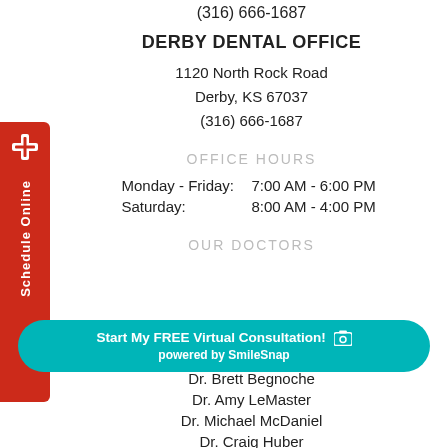(316) 666-1687
DERBY DENTAL OFFICE
1120 North Rock Road
Derby, KS 67037
(316) 666-1687
OFFICE HOURS
Monday - Friday:  7:00 AM - 6:00 PM
Saturday:           8:00 AM - 4:00 PM
OUR DOCTORS
[Figure (infographic): Teal rounded banner with white bold text: 'Start My FREE Virtual Consultation! [camera icon]' and below 'powered by SmileSnap']
Dr. Brett Begnoche
Dr. Amy LeMaster
Dr. Michael McDaniel
Dr. Craig Huber